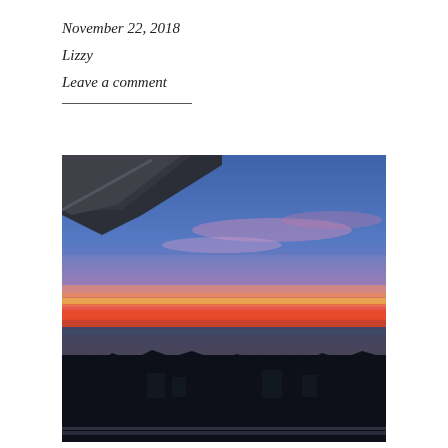November 22, 2018
Lizzy
Leave a comment
[Figure (photo): A sunset photograph taken from a balcony or elevated vantage point. The sky displays vivid bands of orange, pink, red, and blue hues. In the upper left corner, a roof or overhang is visible. The lower portion shows a dark silhouette of trees and buildings against the glowing horizon, with the ocean visible in the middle distance.]